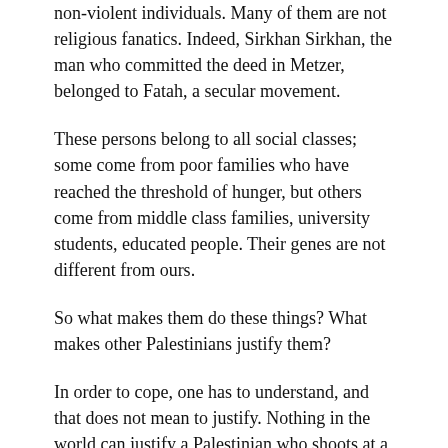non-violent individuals. Many of them are not religious fanatics. Indeed, Sirkhan Sirkhan, the man who committed the deed in Metzer, belonged to Fatah, a secular movement.
These persons belong to all social classes; some come from poor families who have reached the threshold of hunger, but others come from middle class families, university students, educated people. Their genes are not different from ours.
So what makes them do these things? What makes other Palestinians justify them?
In order to cope, one has to understand, and that does not mean to justify. Nothing in the world can justify a Palestinian who shoots at a child in his mother’s embrace, just as nothing can justify an Israeli who drops a bomb on a house in which a child is sleeping in his bed. As the Hebrew poet Bialik wrote a hundred years ago, after the Kishinev pogrom: “Even Satan has not yet invented the revenge for the blood of a little